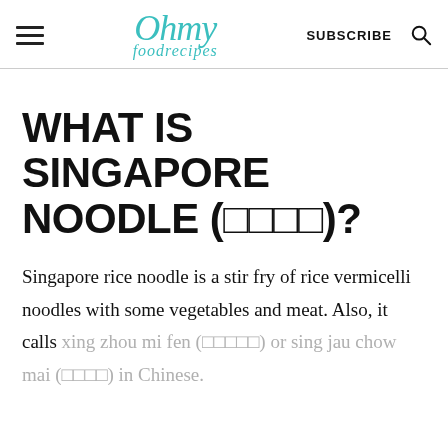Oh my foodrecipes | SUBSCRIBE
WHAT IS SINGAPORE NOODLE (□□□□)?
Singapore rice noodle is a stir fry of rice vermicelli noodles with some vegetables and meat. Also, it calls xing zhou mi fen (□□□□□) or sing jau chow mai (□□□□) in Chinese.